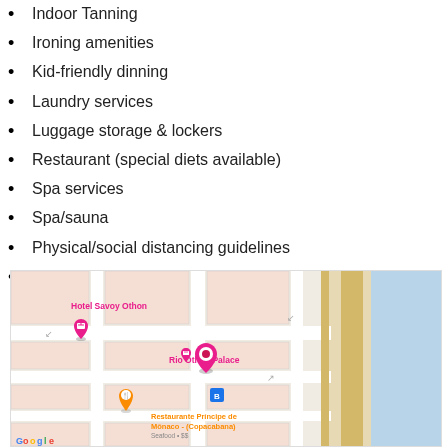Indoor Tanning
Ironing amenities
Kid-friendly dinning
Laundry services
Luggage storage & lockers
Restaurant (special diets available)
Spa services
Spa/sauna
Physical/social distancing guidelines
Protective screen or physical barriers in appropriate areas
[Figure (map): Google Maps view showing Hotel Savoy Othon, Rio Othon Palace (selected), and Restaurante Príncipe de Mônaco - (Copacabana) Seafood •$$ near Copacabana beach area in Rio de Janeiro]